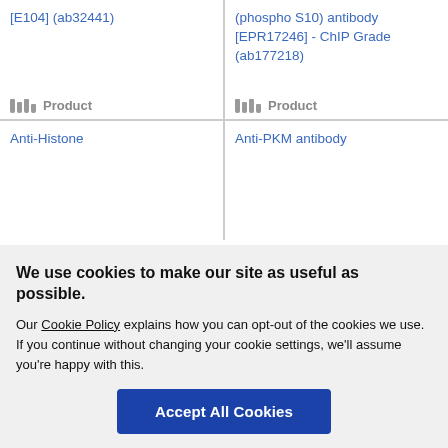[E104] (ab32441)
(phospho S10) antibody [EPR17246] - ChIP Grade (ab177218)
Product
Product
Anti-Histone
Anti-PKM antibody
We use cookies to make our site as useful as possible.
Our Cookie Policy explains how you can opt-out of the cookies we use. If you continue without changing your cookie settings, we'll assume you're happy with this.
Accept All Cookies